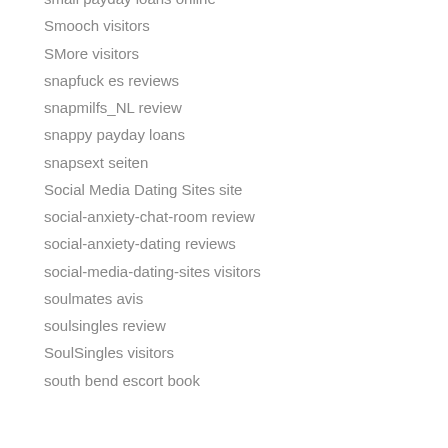small payday loans online
Smooch visitors
SMore visitors
snapfuck es reviews
snapmilfs_NL review
snappy payday loans
snapsext seiten
Social Media Dating Sites site
social-anxiety-chat-room review
social-anxiety-dating reviews
social-media-dating-sites visitors
soulmates avis
soulsingles review
SoulSingles visitors
south bend escort book